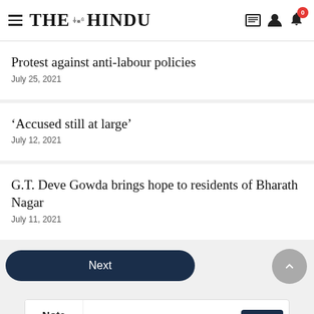THE HINDU
Protest against anti-labour policies
July 25, 2021
'Accused still at large'
July 12, 2021
G.T. Deve Gowda brings hope to residents of Bharath Nagar
July 11, 2021
Next
[Figure (screenshot): Nota Book A Demo Today advertisement banner with Open button]